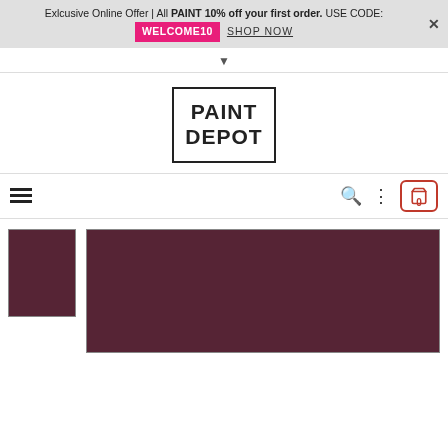Exlcusive Online Offer | All PAINT 10% off your first order. USE CODE: WELCOME10 SHOP NOW
[Figure (logo): Paint Depot logo — bold text PAINT DEPOT inside a black bordered rectangle]
[Figure (screenshot): Navigation bar with hamburger menu, search icon, more options icon, and cart button showing 0 items]
[Figure (photo): Deep burgundy/maroon paint color swatch — thumbnail on left and large main image on right]